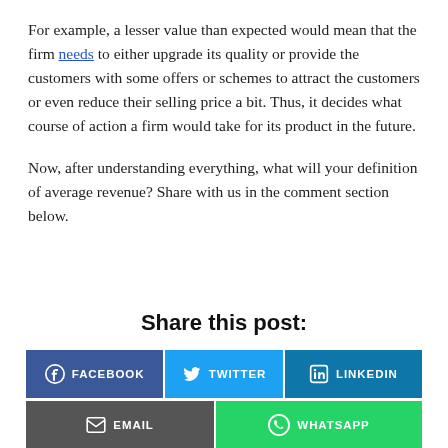For example, a lesser value than expected would mean that the firm needs to either upgrade its quality or provide the customers with some offers or schemes to attract the customers or even reduce their selling price a bit. Thus, it decides what course of action a firm would take for its product in the future.

Now, after understanding everything, what will your definition of average revenue? Share with us in the comment section below.
Share this post:
[Figure (infographic): Social share buttons: FACEBOOK (blue), TWITTER (light blue), LINKEDIN (dark blue) in first row; EMAIL (dark grey), WHATSAPP (green) in second row]